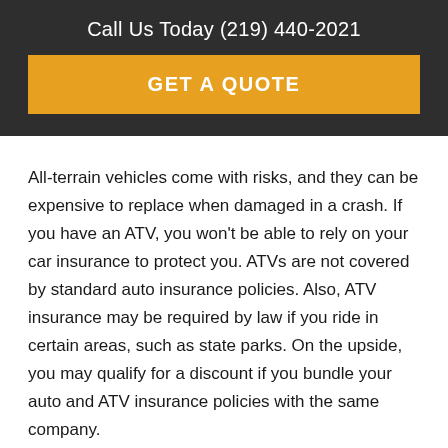Call Us Today (219) 440-2021
GET A QUOTE
All-terrain vehicles come with risks, and they can be expensive to replace when damaged in a crash. If you have an ATV, you won't be able to rely on your car insurance to protect you. ATVs are not covered by standard auto insurance policies. Also, ATV insurance may be required by law if you ride in certain areas, such as state parks. On the upside, you may qualify for a discount if you bundle your auto and ATV insurance policies with the same company.